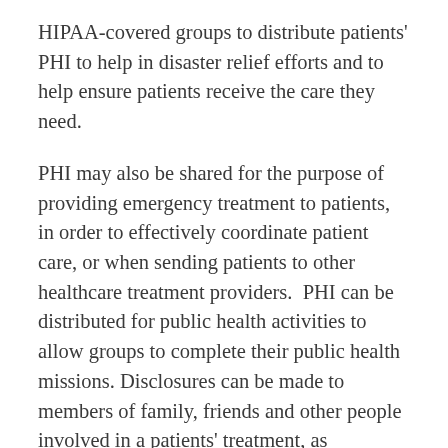HIPAA-covered groups to distribute patients' PHI to help in disaster relief efforts and to help ensure patients receive the care they need.
PHI may also be shared for the purpose of providing emergency treatment to patients, in order to effectively coordinate patient care, or when sending patients to other healthcare treatment providers.  PHI can be distributed for public health activities to allow groups to complete their public health missions. Disclosures can be made to members of family, friends and other people involved in a patients' treatment, as necessary, to identify, find or alert notify family members of the patient's location, condition or possible death. Disclosures can